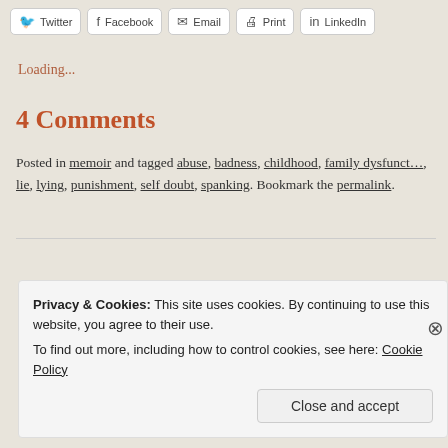Twitter | Facebook | Email | Print | LinkedIn
Loading...
4 Comments
Posted in memoir and tagged abuse, badness, childhood, family dysfunct…, lie, lying, punishment, self doubt, spanking. Bookmark the permalink.
Privacy & Cookies: This site uses cookies. By continuing to use this website, you agree to their use.
To find out more, including how to control cookies, see here: Cookie Policy
Close and accept